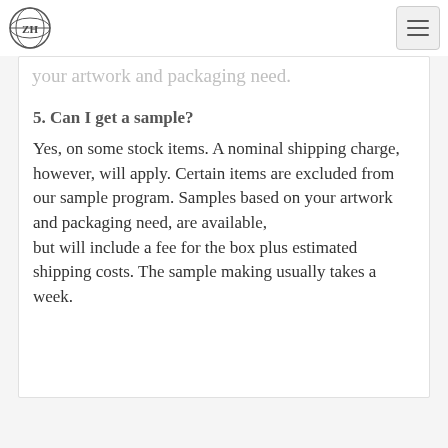ZH logo and navigation menu
your artwork and packaging need.
5. Can I get a sample?
Yes, on some stock items. A nominal shipping charge, however, will apply. Certain items are excluded from our sample program. Samples based on your artwork and packaging need, are available, but will include a fee for the box plus estimated shipping costs. The sample making usually takes a week.